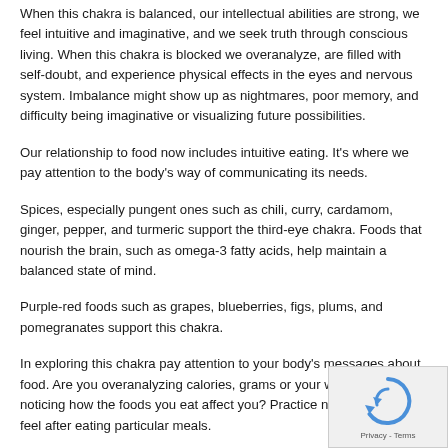When this chakra is balanced, our intellectual abilities are strong, we feel intuitive and imaginative, and we seek truth through conscious living. When this chakra is blocked we overanalyze, are filled with self-doubt, and experience physical effects in the eyes and nervous system. Imbalance might show up as nightmares, poor memory, and difficulty being imaginative or visualizing future possibilities.
Our relationship to food now includes intuitive eating. It's where we pay attention to the body's way of communicating its needs.
Spices, especially pungent ones such as chili, curry, cardamom, ginger, pepper, and turmeric support the third-eye chakra. Foods that nourish the brain, such as omega-3 fatty acids, help maintain a balanced state of mind.
Purple-red foods such as grapes, blueberries, figs, plums, and pomegranates support this chakra.
In exploring this chakra pay attention to your body's messages about food. Are you overanalyzing calories, grams or your weight? Are you noticing how the foods you eat affect you? Practice noticing how you feel after eating particular meals.